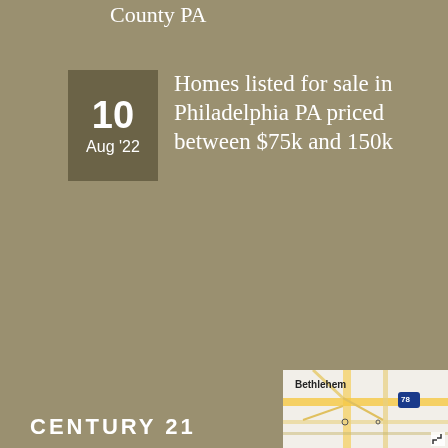County PA
10 Aug '22 — Homes listed for sale in Philadelphia PA priced between $75k and 150k
15 Oct '21 — Selling Your Home? Don't Skip These 3 Essential Steps or Your Sale Will Suffer
CENTURY 21
[Figure (map): Map showing Bethlehem area with road network, labeled Bethlehem, route 78 marker, and expand icon]